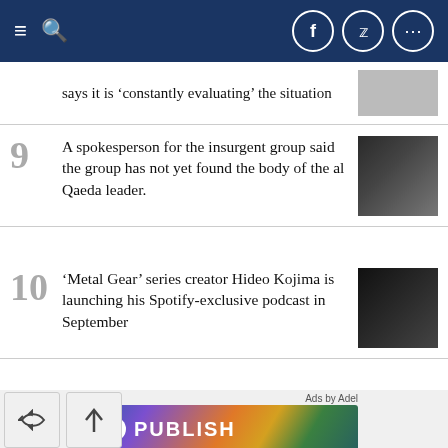Navigation bar with hamburger menu, search icon, and social icons (Facebook, Twitter, More)
says it is ‘constantly evaluating’ the situation
9 A spokesperson for the insurgent group said the group has not yet found the body of the al Qaeda leader.
10 ‘Metal Gear’ series creator Hideo Kojima is launching his Spotify-exclusive podcast in September
[Figure (illustration): Advertisement banner for PUBLISH: Tokenize Your Content - Monetize content and grow]
Ads by Adel